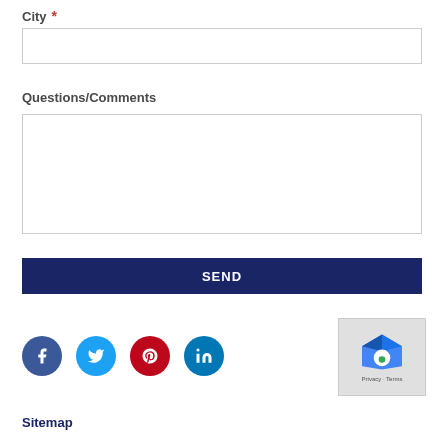City *
[Figure (other): City text input field (empty)]
Questions/Comments
[Figure (other): Questions/Comments textarea (empty)]
[Figure (other): SEND button (dark navy blue)]
[Figure (other): Scroll-to-top button (gray with up arrow)]
[Figure (other): Social media icons: Facebook, Twitter, Pinterest, LinkedIn]
[Figure (other): reCAPTCHA widget with Privacy and Terms text]
Sitemap